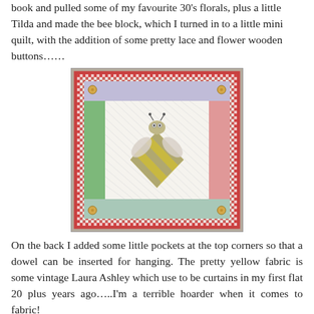book and pulled some of my favourite 30's florals, plus a little Tilda and made the bee block, which I turned in to a little mini quilt, with the addition of some pretty lace and flower wooden buttons......
[Figure (photo): A handmade mini quilt featuring a bee block design in yellow and grey on white, surrounded by a green border, floral border strips at top and bottom, and a red checkered binding. Small wooden flower buttons are at the four corners. The quilt is displayed on a grey linen background.]
On the back I added some little pockets at the top corners so that a dowel can be inserted for hanging. The pretty yellow fabric is some vintage Laura Ashley which use to be curtains in my first flat 20 plus years ago.....I'm a terrible hoarder when it comes to fabric!
[Figure (photo): Close-up of the back of the mini quilt showing a yellow fabric with small white floral print and a red checkered binding edge on a grey background.]